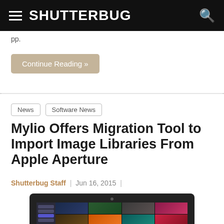SHUTTERBUG
pp.
Continue Reading »
News | Software News
Mylio Offers Migration Tool to Import Image Libraries From Apple Aperture
Shutterbug Staff | Jun 16, 2015 |
[Figure (screenshot): Screenshot of Mylio photo library software displayed on a laptop screen, showing a grid of photos from various locations with a sidebar navigation panel.]